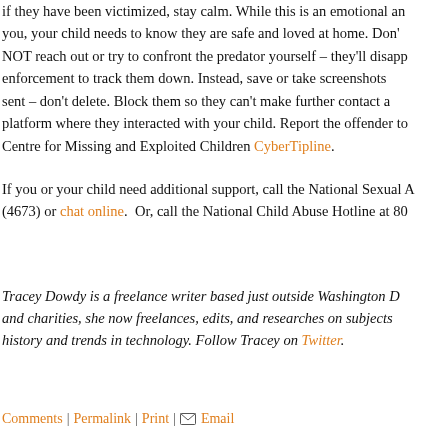if they have been victimized, stay calm. While this is an emotional and difficult time for you, your child needs to know they are safe and loved at home. Do NOT reach out or try to confront the predator yourself – they'll disappear and make it harder for law enforcement to track them down. Instead, save or take screenshots of everything that was sent – don't delete. Block them so they can't make further contact and report them to the platform where they interacted with your child. Report the offender to the National Center for Missing and Exploited Children CyberTipline.
If you or your child need additional support, call the National Sexual Assault Hotline at 800.656.HOPE (4673) or chat online. Or, call the National Child Abuse Hotline at 800...
Tracey Dowdy is a freelance writer based just outside Washington DC. After years of working for nonprofits and charities, she now freelances, edits, and researches on subjects from her unique perspective on history and trends in technology. Follow Tracey on Twitter.
Comments | Permalink | Print | Email